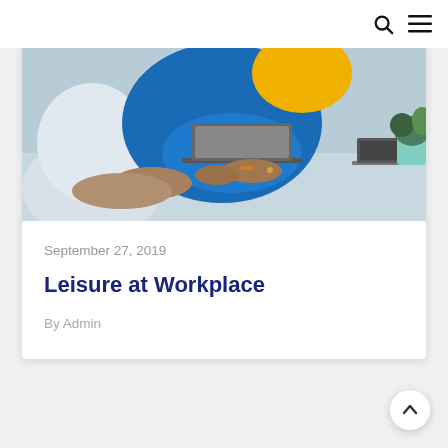search menu
[Figure (photo): People working at a table with laptops; a woman in a blue top is prominently visible typing on a laptop, with others around her, and a green plant in the top right corner.]
September 27, 2019
Leisure at Workplace
By Admin